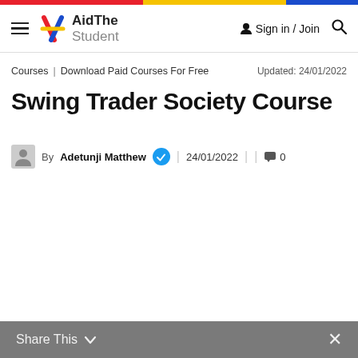AidThe Student — Sign in / Join
Courses | Download Paid Courses For Free    Updated: 24/01/2022
Swing Trader Society Course
By Adetunji Matthew | 24/01/2022 | 0
Share This ∨